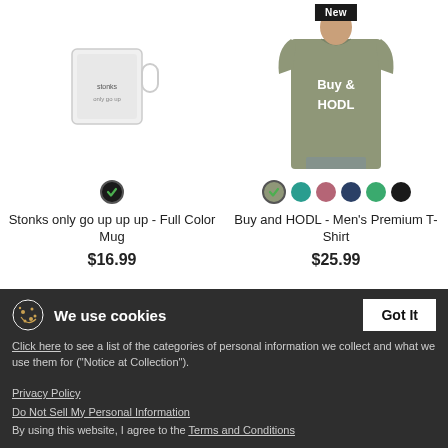[Figure (photo): T-shirt with 'Buy & HODL' text, shown on a male model, olive/khaki color. Has a 'New' badge at top.]
[Figure (illustration): Product color swatches for Buy and HODL shirt: olive (selected), teal, mauve/red, navy, green, black circles]
Buy and HODL - Men's Premium T-Shirt
$25.99
[Figure (illustration): Black checkmark circle swatch for Stonks mug (selected color)]
Stonks only go up up up - Full Color Mug
$16.99
We use cookies
Got It
Click here to see a list of the categories of personal information we collect and what we use them for ("Notice at Collection").
Privacy Policy
Do Not Sell My Personal Information
By using this website, I agree to the Terms and Conditions